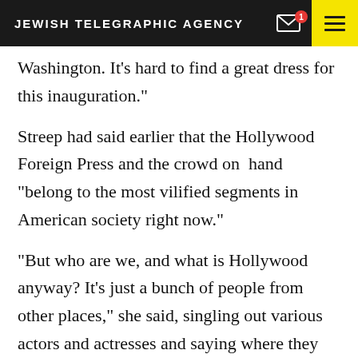JEWISH TELEGRAPHIC AGENCY
Washington. It’s hard to find a great dress for this inauguration.”
Streep had said earlier that the Hollywood Foreign Press and the crowd on hand “belong to the most vilified segments in American society right now.”
“But who are we, and what is Hollywood anyway? It’s just a bunch of people from other places,” she said, singling out various actors and actresses and saying where they grew up, including actress Natalie Portman, who was born in Jerusalem.